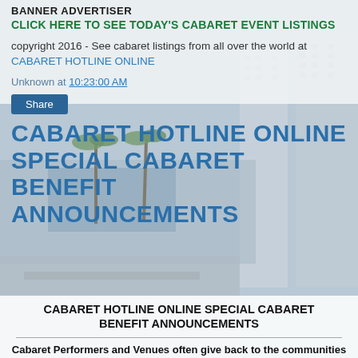BANNER ADVERTISER
CLICK HERE TO SEE TODAY'S CABARET EVENT LISTINGS
copyright 2016 - See cabaret listings from all over the world at CABARET HOTLINE ONLINE
Unknown at 10:23:00 AM
Share
[Figure (photo): Aerial view of a resort area with a swimming pool, palm trees, and multi-story buildings]
CABARET HOTLINE ONLINE SPECIAL CABARET BENEFIT ANNOUNCEMENTS
CABARET HOTLINE ONLINE SPECIAL CABARET BENEFIT ANNOUNCEMENTS
Cabaret Performers and Venues often give back to the communities that support them - through special BENEFIT EVENTS. CABARET HOTLINE ONLINE will use this section of the home page to regularly spotlight and